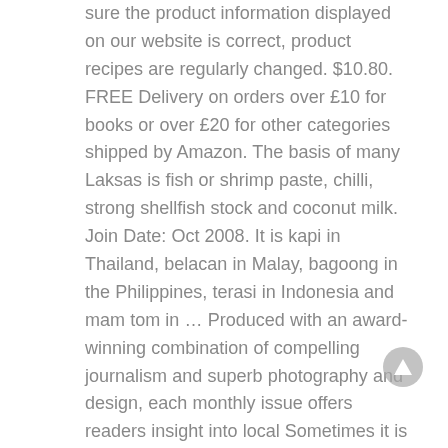sure the product information displayed on our website is correct, product recipes are regularly changed. $10.80. FREE Delivery on orders over £10 for books or over £20 for other categories shipped by Amazon. The basis of many Laksas is fish or shrimp paste, chilli, strong shellfish stock and coconut milk. Join Date: Oct 2008. It is kapi in Thailand, belacan in Malay, bagoong in the Philippines, terasi in Indonesia and mam tom in … Produced with an award-winning combination of compelling journalism and superb photography and design, each monthly issue offers readers insight into local Sometimes it is even formed into dried blocks before being sold. With over 25,000 Great British products on offer, we have set up a new filter system to help you find the items you are looking for. Used widely in Thai and Asian cooking, in curries, soups and other dishes, it can also be used in a wide range of European recipes, to give a distinctive flavour. It is not intended, nor customarily used, for immediate consumption, it has